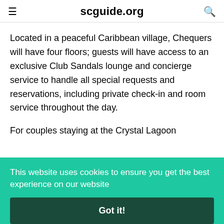scguide.org
Located in a peaceful Caribbean village, Chequers will have four floors; guests will have access to an exclusive Club Sandals lounge and concierge service to handle all special requests and reservations, including private check-in and room service throughout the day.
For couples staying at the Crystal Lagoon
This website uses cookies to ensure you get the best experience on our website
Got it!